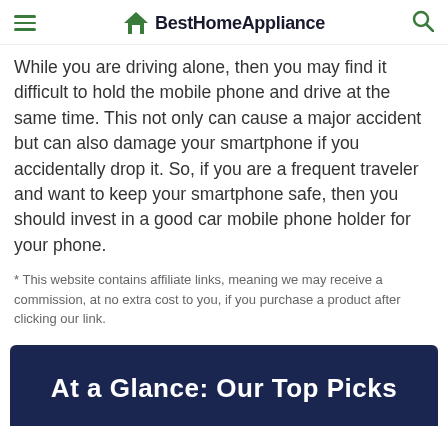BestHomeAppliance
While you are driving alone, then you may find it difficult to hold the mobile phone and drive at the same time. This not only can cause a major accident but can also damage your smartphone if you accidentally drop it. So, if you are a frequent traveler and want to keep your smartphone safe, then you should invest in a good car mobile phone holder for your phone.
* This website contains affiliate links, meaning we may receive a commission, at no extra cost to you, if you purchase a product after clicking our link.
At a Glance: Our Top Picks